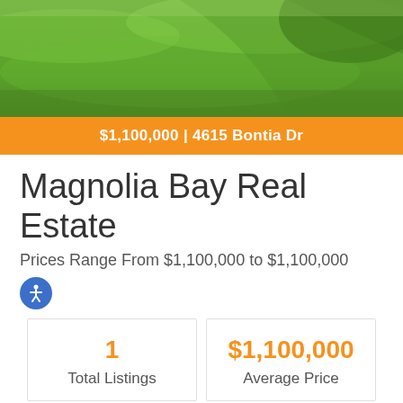[Figure (photo): Green grass/lawn aerial or close-up photo used as hero image]
$1,100,000 | 4615 Bontia Dr
Magnolia Bay Real Estate
Prices Range From $1,100,000 to $1,100,000
| Metric | Value |
| --- | --- |
| Total Listings | 1 |
| Average Price | $1,100,000 |
| Average Sqft | 2,543 |
| Average Price/Sqft | $433 |